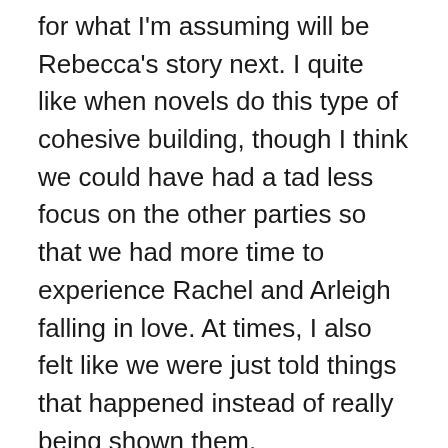for what I'm assuming will be Rebecca's story next. I quite like when novels do this type of cohesive building, though I think we could have had a tad less focus on the other parties so that we had more time to experience Rachel and Arleigh falling in love. At times, I also felt like we were just told things that happened instead of really being shown them.
Rachel is one of those characters that was impossible to dislike and her light shone on everyone that she came into contact with. Though I didn't always feel the heat between them, she brought out a soft side of Arleigh